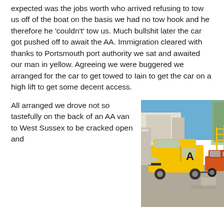expected was the jobs worth who arrived refusing to tow us off of the boat on the basis we had no tow hook and he therefore he 'couldn't' tow us. Much bullshit later the car got pushed off to await the AA. Immigration cleared with thanks to Portsmouth port authority we sat and awaited our man in yellow. Agreeing we were buggered we arranged for the car to get towed to Iain to get the car on a high lift to get some decent access.
All arranged we drove not so tastefully on the back of an AA van to West Sussex to be cracked open and
[Figure (photo): A yellow AA van towing an orange/red sports car at what appears to be Portsmouth port, with a large ship and industrial port infrastructure visible in the background under a blue sky.]